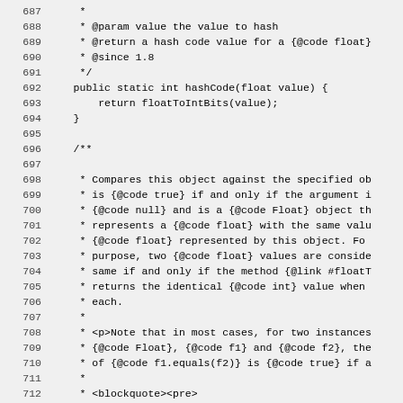Source code listing lines 687-716, showing Java hashCode and equals method Javadoc comments and implementation.